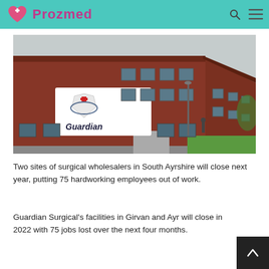Prozmed
[Figure (photo): Exterior photo of a red brick industrial/commercial building with a white Guardian Surgical sign featuring a red cross logo, photographed from outside showing two storeys of windows and a pathway.]
Two sites of surgical wholesalers in South Ayrshire will close next year, putting 75 hardworking employees out of work.
Guardian Surgical's facilities in Girvan and Ayr will close in 2022 with 75 jobs lost over the next four months.